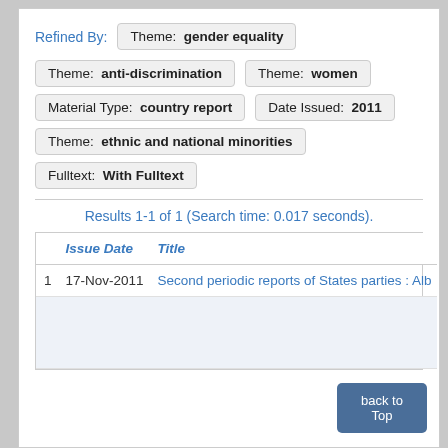Refined By:  Theme: gender equality
Theme: anti-discrimination   Theme: women
Material Type: country report   Date Issued: 2011
Theme: ethnic and national minorities
Fulltext: With Fulltext
Results 1-1 of 1 (Search time: 0.017 seconds).
|  | Issue Date | Title |
| --- | --- | --- |
| 1 | 17-Nov-2011 | Second periodic reports of States parties : Alb |
back to Top